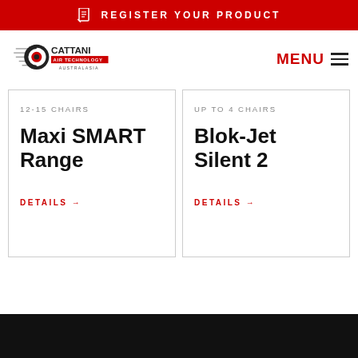REGISTER YOUR PRODUCT
[Figure (logo): Cattani Air Technology Australasia logo]
MENU
12-15 CHAIRS
Maxi SMART Range
DETAILS →
UP TO 4 CHAIRS
Blok-Jet Silent 2
DETAILS →